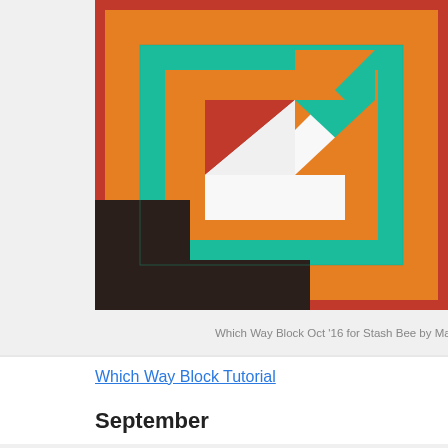[Figure (photo): A colorful quilt block called 'Which Way Block' showing concentric square frames in red, orange, and teal/turquoise, with a central area containing white, red, orange, and teal triangle patterns. Photographed on a dark brown/black background.]
Which Way Block Oct '16 for Stash Bee by Mary Ringer
Which Way Block Tutorial
September
[Figure (photo): Partial view of quilt fabric pieces including dark navy with small white dots pattern and bright yellow-green (lime) fabric, with a pin visible, photographed on a light gray surface.]